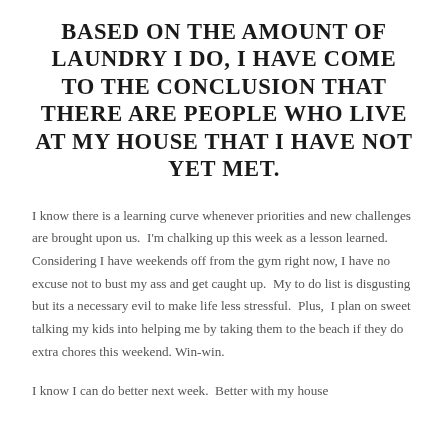BASED ON THE AMOUNT OF LAUNDRY I DO, I HAVE COME TO THE CONCLUSION THAT THERE ARE PEOPLE WHO LIVE AT MY HOUSE THAT I HAVE NOT YET MET.
I know there is a learning curve whenever priorities and new challenges are brought upon us.  I'm chalking up this week as a lesson learned.  Considering I have weekends off from the gym right now, I have no excuse not to bust my ass and get caught up.  My to do list is disgusting but its a necessary evil to make life less stressful.  Plus,  I plan on sweet talking my kids into helping me by taking them to the beach if they do extra chores this weekend. Win-win.
I know I can do better next week.  Better with my house